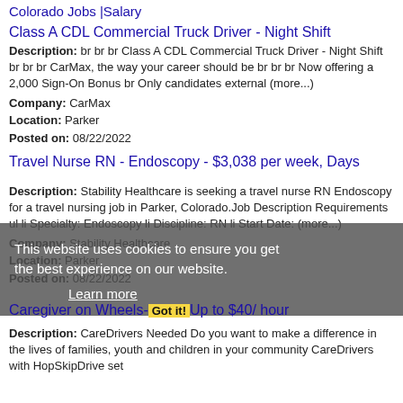Colorado Jobs |Salary
Class A CDL Commercial Truck Driver - Night Shift
Description: br br br Class A CDL Commercial Truck Driver - Night Shift br br br CarMax, the way your career should be br br br Now offering a 2,000 Sign-On Bonus br Only candidates external (more...)
Company: CarMax
Location: Parker
Posted on: 08/22/2022
Travel Nurse RN - Endoscopy - $3,038 per week, Days
Description: Stability Healthcare is seeking a travel nurse RN Endoscopy for a travel nursing job in Parker, Colorado.Job Description Requirements ul li Specialty: Endoscopy li Discipline: RN li Start Date: (more...)
Company: Stability Healthcare
Location: Parker
Posted on: 08/22/2022
Caregiver on Wheels- Got it! Up to $40/ hour
Description: CareDrivers Needed Do you want to make a difference in the lives of families, youth and children in your community CareDrivers with HopSkipDrive set
This website uses cookies to ensure you get the best experience on our website. Learn more